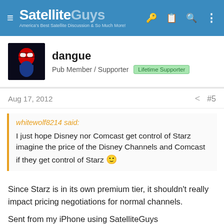SatelliteGuys — America's Best Satellite Discussion & So Much More!
dangue
Pub Member / Supporter  Lifetime Supporter
Aug 17, 2012  #5
whitewolf8214 said:
I just hope Disney nor Comcast get control of Starz imagine the price of the Disney Channels and Comcast if they get control of Starz 🙂
Since Starz is in its own premium tier, it shouldn't really impact pricing negotiations for normal channels.
Sent from my iPhone using SatelliteGuys